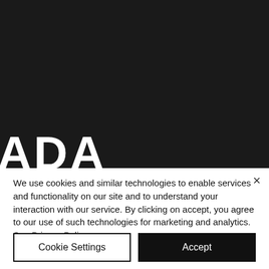[Figure (logo): Dark background with partial white logo text 'ADA' visible, with a small graphic figure/icon integrated into the letter A]
We use cookies and similar technologies to enable services and functionality on our site and to understand your interaction with our service. By clicking on accept, you agree to our use of such technologies for marketing and analytics. See Privacy Policy
Cookie Settings
Accept